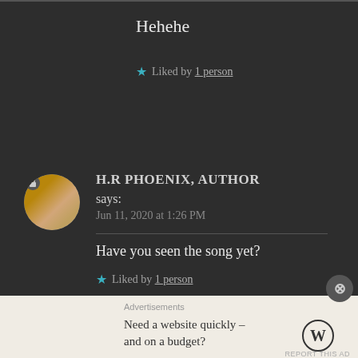Hehehe
★ Liked by 1 person
H.R PHOENIX, AUTHOR says: Jun 11, 2020 at 1:26 PM
Have you seen the song yet?
★ Liked by 1 person
Advertisements
Need a website quickly – and on a budget?